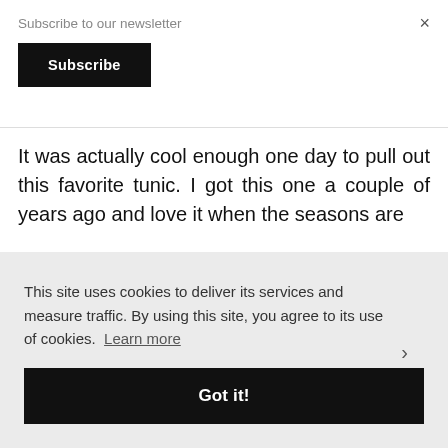Subscribe to our newsletter
Subscribe
×
It was actually cool enough one day to pull out this favorite tunic. I got this one a couple of years ago and love it when the seasons are
This site uses cookies to deliver its services and measure traffic. By using this site, you agree to its use of cookies. Learn more
Got it!